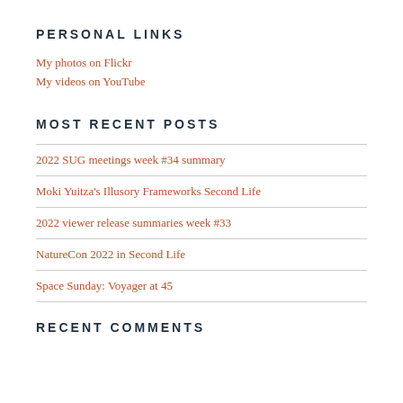PERSONAL LINKS
My photos on Flickr
My videos on YouTube
MOST RECENT POSTS
2022 SUG meetings week #34 summary
Moki Yuitza's Illusory Frameworks Second Life
2022 viewer release summaries week #33
NatureCon 2022 in Second Life
Space Sunday: Voyager at 45
RECENT COMMENTS